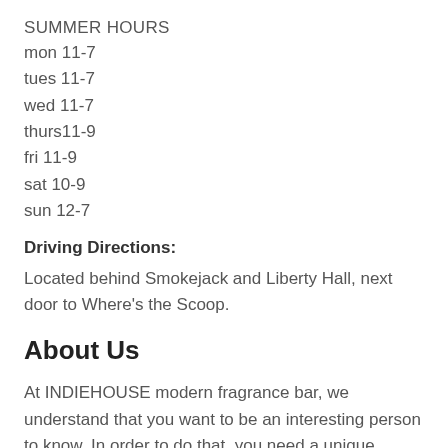SUMMER HOURS
mon 11-7
tues 11-7
wed 11-7
thurs11-9
fri 11-9
sat 10-9
sun 12-7
Driving Directions:
Located behind Smokejack and Liberty Hall, next door to Where's the Scoop.
About Us
At INDIEHOUSE modern fragrance bar, we understand that you want to be an interesting person to know. In order to do that, you need a unique fragrance that represents who you are and gets people's attention (in a good way!) The problem is, there are too many choices and the differences are unclear, which makes you feel overwhelmed and uninspired. We believe it should be easy to find a unique scent. We understand that you don't want to be like everyone else, which is why we sniffed hundreds of